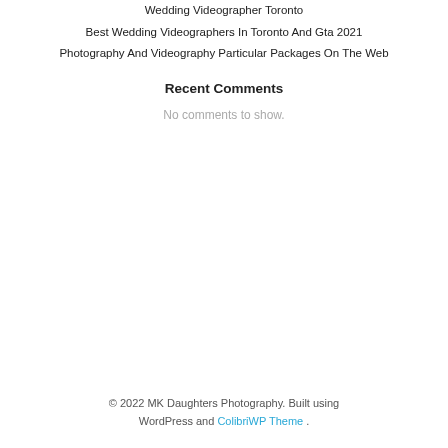Wedding Videographer Toronto
Best Wedding Videographers In Toronto And Gta 2021
Photography And Videography Particular Packages On The Web
Recent Comments
No comments to show.
© 2022 MK Daughters Photography. Built using WordPress and ColibriWP Theme .